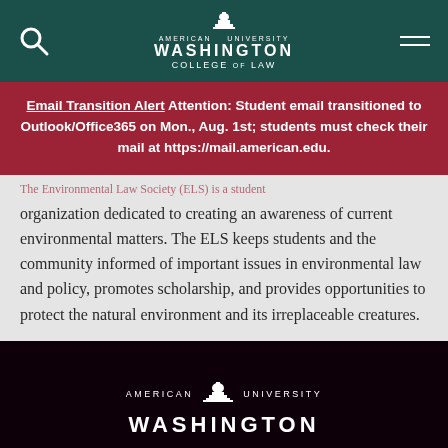American University Washington College of Law
Email Transition Alert Attention: Student email transitioned to Outlook/Office365 on Mon., Aug. 1st; students must check their mail at https://mail.american.edu.
organization dedicated to creating an awareness of current environmental matters. The ELS keeps students and the community informed of important issues in environmental law and policy, promotes scholarship, and provides opportunities to protect the natural environment and its irreplaceable creatures.
American University Washington